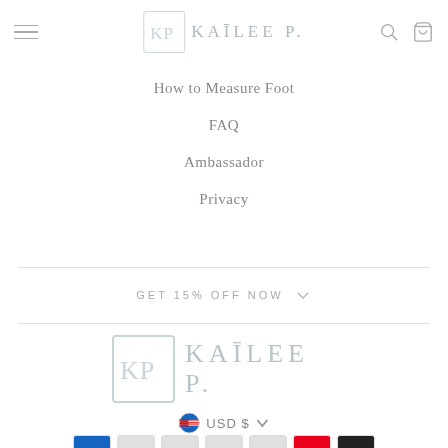KAILEE P. — navigation header with hamburger menu, logo, search and cart icons
How to Measure Foot
FAQ
Ambassador
Privacy
GET 15% OFF NOW
[Figure (logo): Kailee P. brand logo with KP monogram in a rounded rectangle box and stylized brand name]
USD $
[Figure (other): Row of payment method icons partially visible at bottom: American Express, Apple Pay, Diners Club, Discover, Google Pay, Mastercard, PayPal]